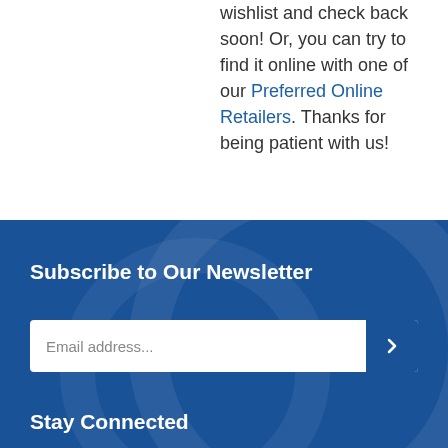wishlist and check back soon! Or, you can try to find it online with one of our Preferred Online Retailers. Thanks for being patient with us!
Subscribe to Our Newsletter
Email address...
Stay Connected